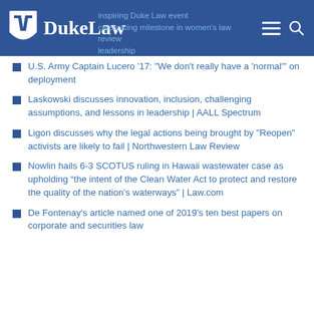Duke Law
Inspiring Duke Law event celebrating milestone in women's law review leadership
U.S. Army Captain Lucero '17: "We don't really have a 'normal'" on deployment
Laskowski discusses innovation, inclusion, challenging assumptions, and lessons in leadership | AALL Spectrum
Ligon discusses why the legal actions being brought by "Reopen" activists are likely to fail | Northwestern Law Review
Nowlin hails 6-3 SCOTUS ruling in Hawaii wastewater case as upholding “the intent of the Clean Water Act to protect and restore the quality of the nation’s waterways” | Law.com
De Fontenay's article named one of 2019's ten best papers on corporate and securities law